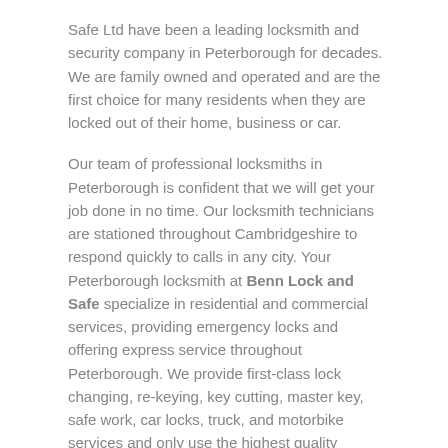Safe Ltd have been a leading locksmith and security company in Peterborough for decades. We are family owned and operated and are the first choice for many residents when they are locked out of their home, business or car.
Our team of professional locksmiths in Peterborough is confident that we will get your job done in no time. Our locksmith technicians are stationed throughout Cambridgeshire to respond quickly to calls in any city. Your Peterborough locksmith at Benn Lock and Safe specialize in residential and commercial services, providing emergency locks and offering express service throughout Peterborough. We provide first-class lock changing, re-keying, key cutting, master key, safe work, car locks, truck, and motorbike services and only use the highest quality products and materials.
Trust the locksmith experts, Benn Lock and Safe Ltd.